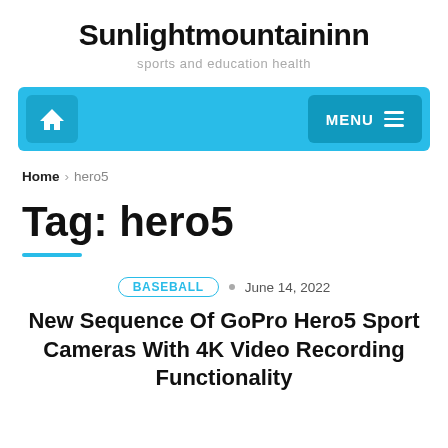Sunlightmountaininn
sports and education health
[Figure (screenshot): Navigation bar with home icon button and MENU button on cyan/blue background]
Home > hero5
Tag: hero5
BASEBALL • June 14, 2022
New Sequence Of GoPro Hero5 Sport Cameras With 4K Video Recording Functionality